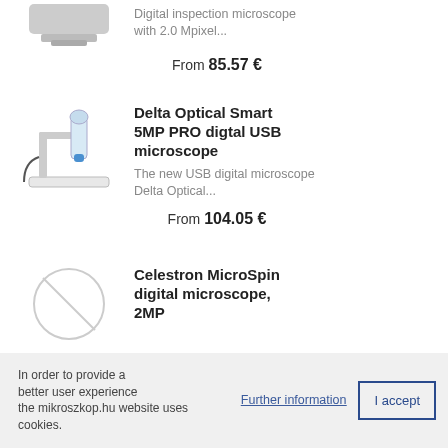[Figure (photo): Partial product image of a digital inspection microscope at the top of the page]
Digital inspection microscope with 2.0 Mpixel...
From 85.57 €
[Figure (photo): Delta Optical Smart 5MP PRO digital USB microscope product image]
Delta Optical Smart 5MP PRO digtal USB microscope
The new USB digital microscope Delta Optical...
From 104.05 €
[Figure (photo): No image placeholder (circle with diagonal line) for Celestron MicroSpin digital microscope]
Celestron MicroSpin digital microscope, 2MP
In order to provide a better user experience the mikroszkop.hu website uses cookies.
Further information
I accept